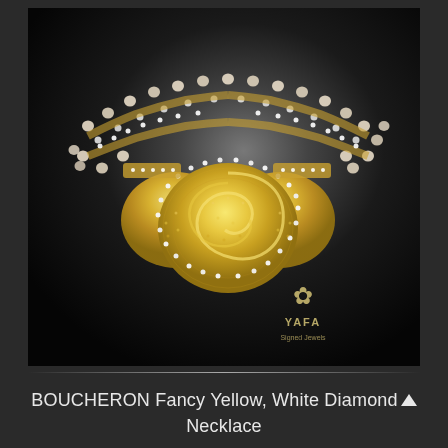[Figure (photo): A luxury BOUCHERON necklace featuring fancy yellow and white diamonds set in gold, with a large ornate swirl centerpiece and pearl-like bead strands on a dark background. A YAFA Signed Jewels logo appears in the bottom right of the image.]
BOUCHERON Fancy Yellow, White Diamond Necklace